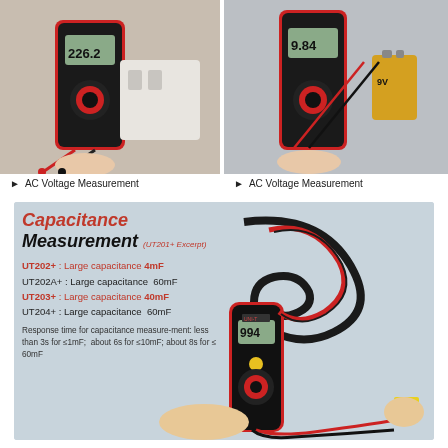[Figure (photo): Hand holding a red UNI-T digital multimeter measuring AC voltage from a power outlet, display shows 226.2]
[Figure (photo): Hand holding a red UNI-T digital multimeter measuring DC voltage from a 9V battery, display shows 9.84]
▶ AC Voltage Measurement
▶ AC Voltage Measurement
[Figure (photo): Hand holding a red UNI-T clamp meter (UT201+ series) measuring capacitance of a capacitor, display shows 994. Background is light blue-grey.]
Capacitance Measurement (UT201+ Excerpt)
UT202+ : Large capacitance 4mF
UT202A+ : Large capacitance 60mF
UT203+ : Large capacitance 40mF
UT204+ : Large capacitance 60mF
Response time for capacitance measurement: less than 3s for ≤1mF; about 6s for ≤10mF; about 8s for ≤ 60mF